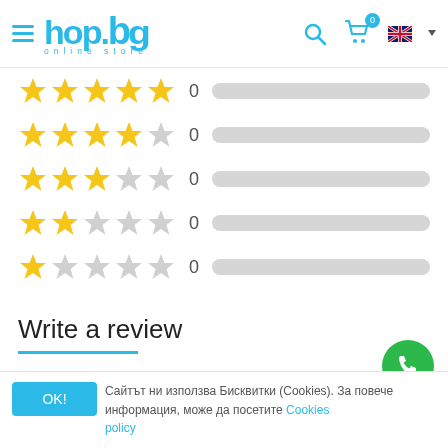[Figure (logo): hop.bg online store logo with hamburger menu, search icon, cart with 0 badge, and UK flag]
[Figure (infographic): Rating bars: 5 stars 0, 4 stars 0, 3 stars 0, 2 stars 0, 1 star 0, all with empty gray progress bars]
Write a review
Rating
Сайтът ни използва Бисквитки (Cookies). За повече информация, може да посетите Cookies policy